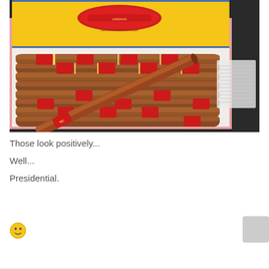[Figure (photo): Open box of Cuban cigars (likely Montecristo or similar brand) with yellow lid showing red label, multiple brown cigars arranged in rows with red/gold bands, one cigar placed diagonally on top. A small paper/card visible in upper right corner. Dark background surface.]
Those look positively...
Well...
Presidential.
[Figure (other): Small yellow smiley face emoji]